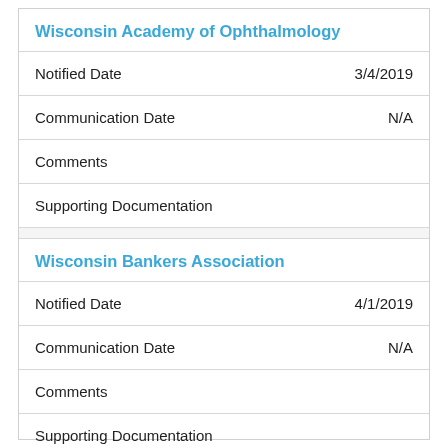Wisconsin Academy of Ophthalmology
| Notified Date | 3/4/2019 |
| Communication Date | N/A |
| Comments |  |
| Supporting Documentation |  |
Wisconsin Bankers Association
| Notified Date | 4/1/2019 |
| Communication Date | N/A |
| Comments |  |
| Supporting Documentation |  |